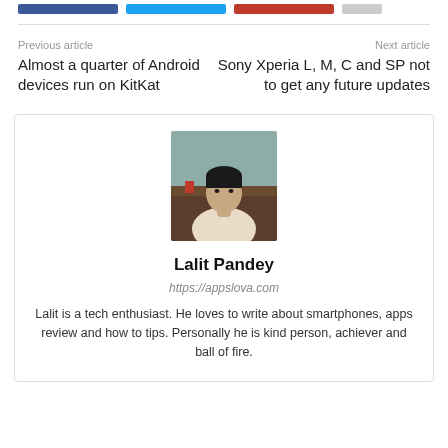[Social share buttons: Facebook, Twitter, Reddit, WhatsApp]
Previous article | Next article
Almost a quarter of Android devices run on KitKat
Sony Xperia L, M, C and SP not to get any future updates
[Figure (photo): Portrait photo of Lalit Pandey, a young man in a white polo shirt, seated indoors]
Lalit Pandey
https://appslova.com
Lalit is a tech enthusiast. He loves to write about smartphones, apps review and how to tips. Personally he is kind person, achiever and ball of fire.